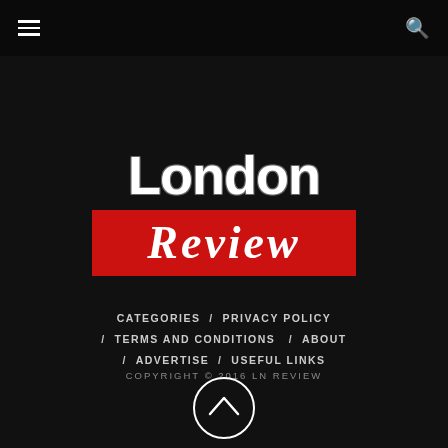London Review — navigation bar with hamburger menu and search icon
[Figure (logo): London Review logo: 'London' in large white bold text on black background, 'Review' in large white italic serif text on red background]
CATEGORIES / PRIVACY POLICY / TERMS AND CONDITIONS / ABOUT / ADVERTISE / USEFUL LINKS
COPYRIGHT © 2016 LN REVIEW
[Figure (other): Back to top button — circle with upward chevron arrow]